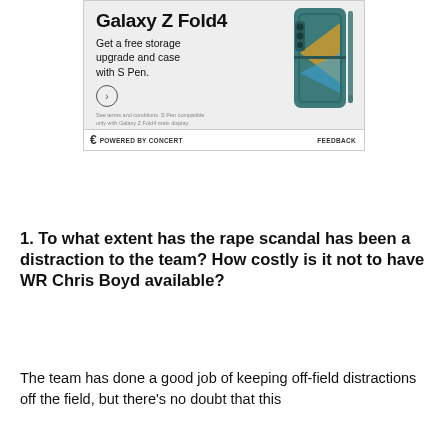[Figure (photo): Samsung Galaxy Z Fold4 advertisement showing the phone and an S Pen with teal/dark green case. Text reads 'Galaxy Z Fold4 - Get a free storage upgrade and case with S Pen.' with a circular arrow button. Small disclaimer text at bottom. Powered by Concert / Feedback footer.]
1. To what extent has the rape scandal has been a distraction to the team? How costly is it not to have WR Chris Boyd available?
The team has done a good job of keeping off-field distractions off the field, but there's no doubt that this